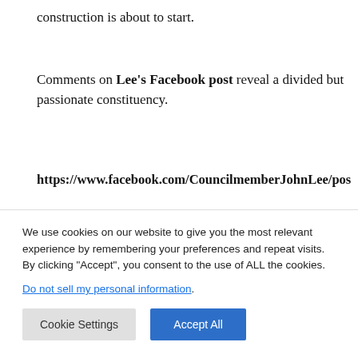construction is about to start.
Comments on Lee's Facebook post reveal a divided but passionate constituency.
https://www.facebook.com/CouncilmemberJohnLee/pos
“I wish those who are pushing for these apartments would take a moment to think about the
We use cookies on our website to give you the most relevant experience by remembering your preferences and repeat visits. By clicking “Accept”, you consent to the use of ALL the cookies.
Do not sell my personal information.